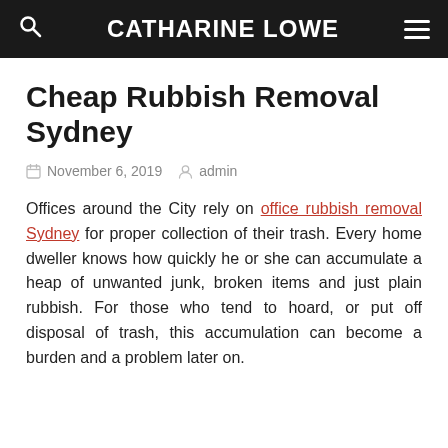CATHARINE LOWE
Cheap Rubbish Removal Sydney
November 6, 2019   admin
Offices around the City rely on office rubbish removal Sydney for proper collection of their trash. Every home dweller knows how quickly he or she can accumulate a heap of unwanted junk, broken items and just plain rubbish. For those who tend to hoard, or put off disposal of trash, this accumulation can become a burden and a problem later on.